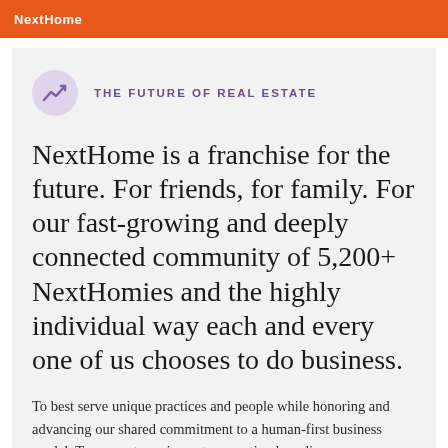NextHome
THE FUTURE OF REAL ESTATE
NextHome is a franchise for the future. For friends, for family. For our fast-growing and deeply connected community of 5,200+ NextHomies and the highly individual way each and every one of us chooses to do business.
To best serve unique practices and people while honoring and advancing our shared commitment to a human-first business model. To support you in next-generation branding.